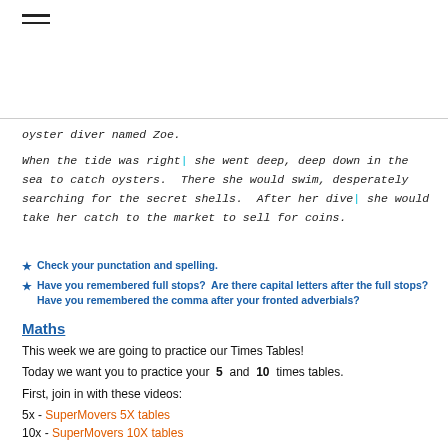oyster diver named Zoe.
When the tide was right, she went deep, deep down in the sea to catch oysters.  There she would swim, desperately searching for the secret shells.  After her dive, she would take her catch to the market to sell for coins.
Check your punctation and spelling.
Have you remembered full stops?  Are there capital letters after the full stops?  Have you remembered the comma after your fronted adverbials?
Maths
This week we are going to practice our Times Tables!
Today we want you to practice your 5 and 10 times tables.
First, join in with these videos:
5x - SuperMovers 5X tables
10x - SuperMovers 10X tables
Now write down your times tables
1x5 =        1x10=